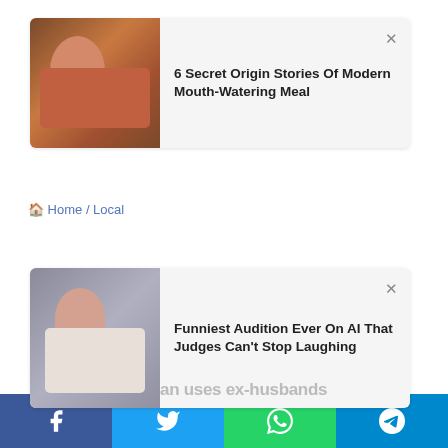[Figure (screenshot): Ad card 1: woman eating food, headline '6 Secret Origin Stories Of Modern Mouth-Watering Meal' with X close button]
Home / Local
[Figure (screenshot): Ad card 2: woman with hands on face, headline 'Funniest Audition Ever On AI That Judges Can't Stop Laughing' with X close button, overlapping article text 'an uses ex-husbands']
counseling credentials to file fraudulent Medicaid claims after their divorce, records show
Dais Johnston · June 18, 2022 🔥 24
[Figure (infographic): Social sharing bar with Facebook, Twitter, WhatsApp, and Telegram icons]